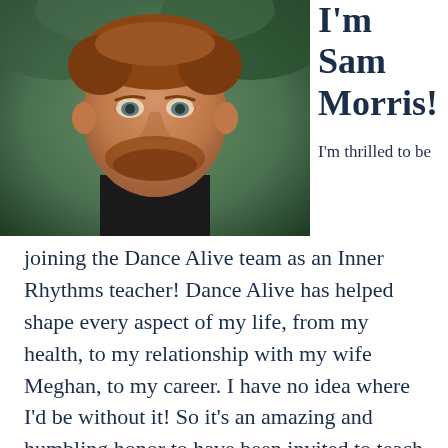[Figure (photo): Headshot of Sam Morris, a middle-aged man with short reddish-brown hair and beard, wearing a black shirt, photographed outdoors with a blurred green background.]
I'm Sam Morris!
I'm thrilled to be joining the Dance Alive team as an Inner Rhythms teacher! Dance Alive has helped shape every aspect of my life, from my health, to my relationship with my wife Meghan, to my career. I have no idea where I'd be without it! So it's an amazing and humbling honor to have been invited to teach Inner Rhythms.
Inner Rhythms is the practice of sharpening one's